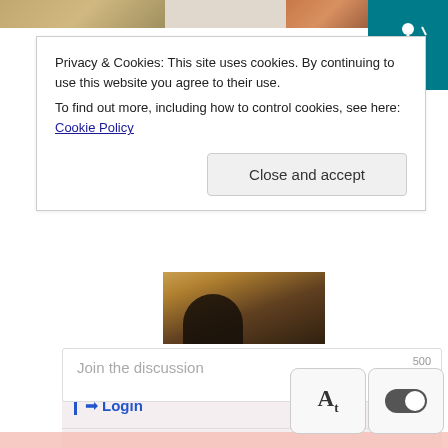[Figure (screenshot): Top strip with two thumbnail images and a teal accessibility icon in top-right corner]
Privacy & Cookies: This site uses cookies. By continuing to use this website you agree to their use.
To find out more, including how to control cookies, see here: Cookie Policy
Close and accept
[Figure (photo): Small dark brown indoor photo, lower portion of page]
Login
Join the discussion
[Figure (screenshot): Bottom accessibility toolbar with font size and toggle controls]